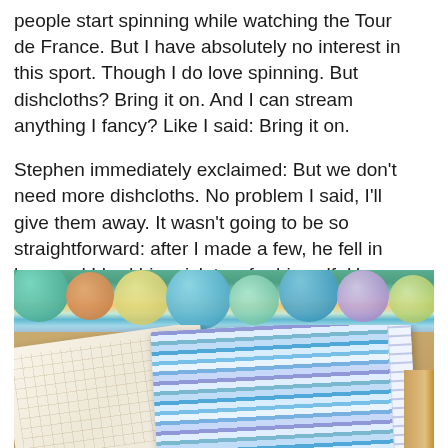people start spinning while watching the Tour de France. But I have absolutely no interest in this sport. Though I do love spinning. But dishcloths? Bring it on. And I can stream anything I fancy? Like I said: Bring it on.
Stephen immediately exclaimed: But we don't need more dishcloths. No problem I said, I'll give them away. It wasn't going to be so straightforward: after I made a few, he fell in love and I had him pick two for himself. He chose well.
[Figure (photo): Photo of knitted/crocheted dishcloths: a cream-colored waffle-textured dishcloth on the left and a blue-and-white striped dishcloth on the right, surrounded by colorful balls of yarn in teal, orange, yellow, blue, and purple, with a wicker basket visible on the right edge.]